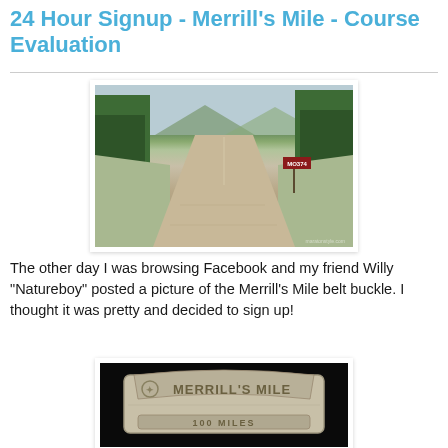24 Hour Signup - Merrill's Mile - Course Evaluation
[Figure (photo): A long straight dirt/gravel road cutting through open fields with dense forest on both sides, mountains in background, a road sign reading MO374 visible on the right side.]
The other day I was browsing Facebook and my friend Willy "Natureboy" posted a picture of the Merrill's Mile belt buckle. I thought it was pretty and decided to sign up!
[Figure (photo): A metal belt buckle with engraved text reading MERRILL'S MILE and 100 MILES, shown on a black background.]